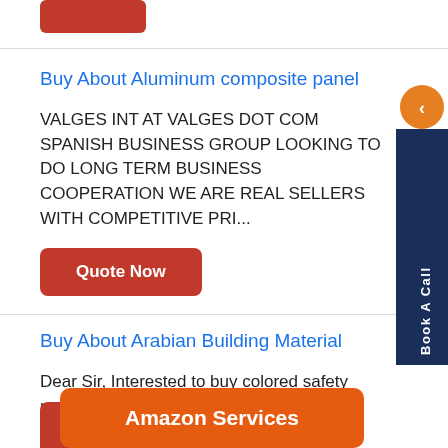(button at top – partially visible)
Buy About Aluminum composite panel
VALGES INT AT VALGES DOT COM SPANISH BUSINESS GROUP LOOKING TO DO LONG TERM BUSINESS COOPERATION WE ARE REAL SELLERS WITH COMPETITIVE PRI...
Quote Now
Buy About Arabian Building Material
Dear Sir, Interested to buy colored safety matches 2.5inch/5cm and 4inch/10 cm. Amount *0 **0 pieces in... te hea...
[Figure (other): Amazon Services orange promotional button overlay]
Quote Now (partially visible at bottom)